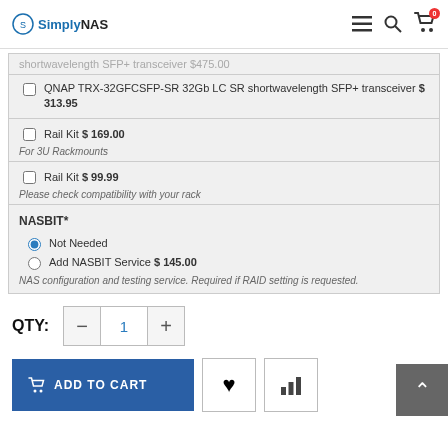SimplyNAS
shortwavelength SFP+ transceiver $475.00 (truncated)
QNAP TRX-32GFCSFP-SR 32Gb LC SR shortwavelength SFP+ transceiver $ 313.95
Rail Kit $ 169.00
For 3U Rackmounts
Rail Kit $ 99.99
Please check compatibility with your rack
NASBIT*
Not Needed
Add NASBIT Service $ 145.00
NAS configuration and testing service. Required if RAID setting is requested.
QTY: 1
ADD TO CART